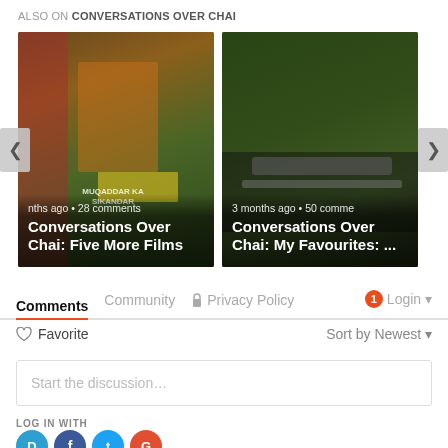ALSO ON CONVERSATIONS OVER CHAI
[Figure (screenshot): Carousel widget showing two article cards. Left card: Bollywood film poster background with text 'nths ago • 28 comments' and title 'Conversations Over Chai: Five More Films'. Right card: Forest/train background with text '3 months ago • 50 comme...' and title 'Conversations Over Chai: My Favourites: ...'. Navigation arrows on left and right sides.]
Comments   Community   🔒 Privacy Policy   1   Login ▾
♡ Favorite   Sort by Newest ▾
Start the discussion...
LOG IN WITH